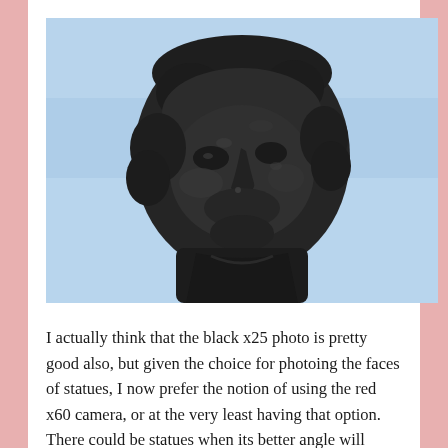[Figure (photo): Close-up photograph of a dark bronze or black statue head/bust of a historical figure, shot from a low angle against a light blue sky. The sculpture shows detailed facial features of an older man, looking upward.]
I actually think that the black x25 photo is pretty good also, but given the choice for photoing the faces of statues, I now prefer the notion of using the red x60 camera, or at the very least having that option. There could be statues when its better angle will make quite a